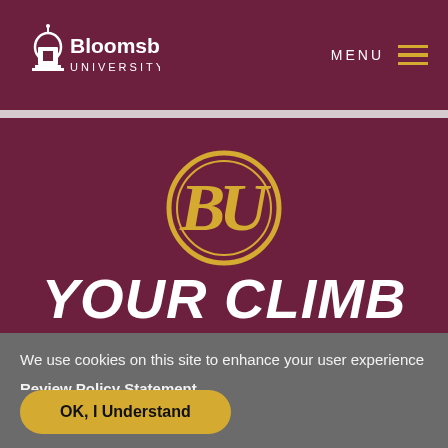[Figure (logo): Bloomsburg University logo with building icon and university name in white text on maroon background]
MENU
[Figure (logo): BU circular monogram logo in gold/yellow on maroon background]
YOUR CLIMB
We use cookies on this site to enhance your user experience
Review Policy Statement
OK, I Understand